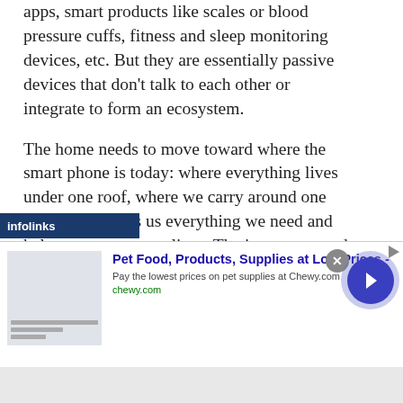apps, smart products like scales or blood pressure cuffs, fitness and sleep monitoring devices, etc. But they are essentially passive devices that don't talk to each other or integrate to form an ecosystem.
The home needs to move toward where the smart phone is today: where everything lives under one roof, where we carry around one device that gives us everything we need and helps us manage our lives. The interconnected home of the future will provide higher levels of connectivity, and higher levels of artificial intelligence.  We're working on products that incorporate algorithms that decipher connections between behaviors and outcomes.
[Figure (other): Infolinks advertisement banner with label 'infolinks' and a Chewy.com pet food advertisement showing 'Pet Food, Products, Supplies at Low Prices - Pay the lowest prices on pet supplies at Chewy.com' with a navigation arrow button.]